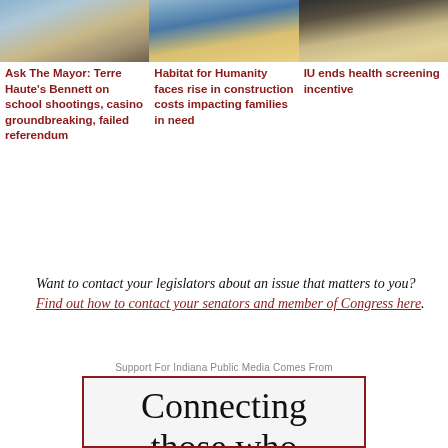[Figure (photo): Exterior photo of a building with parking lot, blue sky]
[Figure (photo): Person working on construction, wearing blue shirt and yellow vest]
[Figure (photo): House exterior at night with lights on]
Ask The Mayor: Terre Haute's Bennett on school shootings, casino groundbreaking, failed referendum
Habitat for Humanity faces rise in construction costs impacting families in need
IU ends health screening incentive
Want to contact your legislators about an issue that matters to you? Find out how to contact your senators and member of Congress here.
Support For Indiana Public Media Comes From
Connecting those who